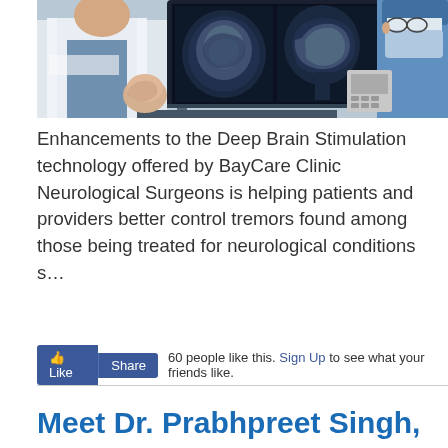[Figure (photo): Two medical professionals in a clinical setting reviewing brain MRI scans on a large monitor. One wears a white lab coat and the other wears blue surgical scrubs and a mask. A telephone and brain model are visible in the background.]
Enhancements to the Deep Brain Stimulation technology offered by BayCare Clinic Neurological Surgeons is helping patients and providers better control tremors found among those being treated for neurological conditions s…
Read More ▶
60 people like this. Sign Up to see what your friends like.
Meet Dr. Prabhpreet Singh,